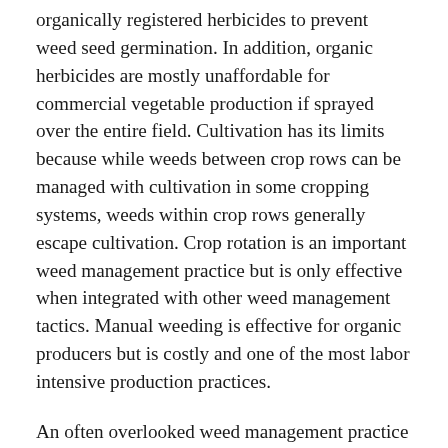organically registered herbicides to prevent weed seed germination. In addition, organic herbicides are mostly unaffordable for commercial vegetable production if sprayed over the entire field. Cultivation has its limits because while weeds between crop rows can be managed with cultivation in some cropping systems, weeds within crop rows generally escape cultivation. Crop rotation is an important weed management practice but is only effective when integrated with other weed management tactics. Manual weeding is effective for organic producers but is costly and one of the most labor intensive production practices.
An often overlooked weed management practice is the stale seedbed technique; a weed management practice in which weed seeds just below the soil surface are allowed to germinate and then killed